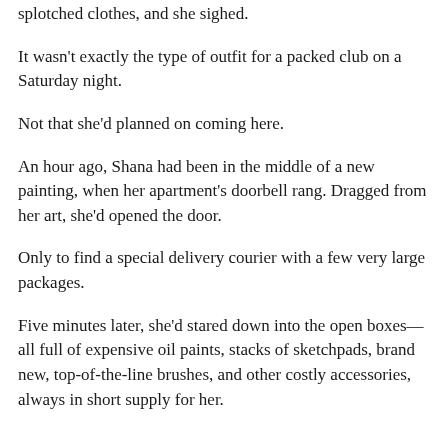splotched clothes, and she sighed.
It wasn't exactly the type of outfit for a packed club on a Saturday night.
Not that she'd planned on coming here.
An hour ago, Shana had been in the middle of a new painting, when her apartment's doorbell rang. Dragged from her art, she'd opened the door.
Only to find a special delivery courier with a few very large packages.
Five minutes later, she'd stared down into the open boxes—all full of expensive oil paints, stacks of sketchpads, brand new, top-of-the-line brushes, and other costly accessories, always in short supply for her.